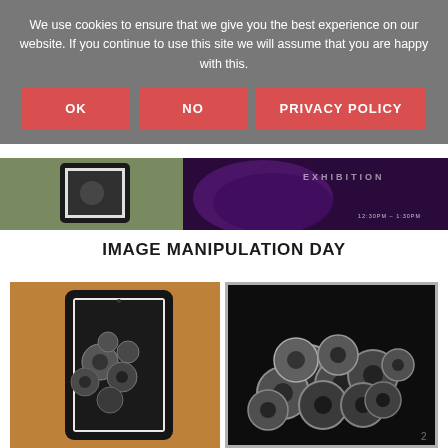We use cookies to ensure that we give you the best experience on our website. If you continue to use this site we will assume that you are happy with this.
OK
NO
PRIVACY POLICY
[Figure (photo): Two cropped photos visible behind the cookie banner: left shows a person holding a tablet outdoors, right shows a dark purple promotional image with text and a time stamp '12:30PM - 1:30PM']
IMAGE MANIPULATION DAY
[Figure (photo): Left photo: a tablet device with black case placed on an orange/wood surface, screen showing black and white image of coins/washers. Right photo: black and white high-contrast image of a pile of coins/washers on dark background.]